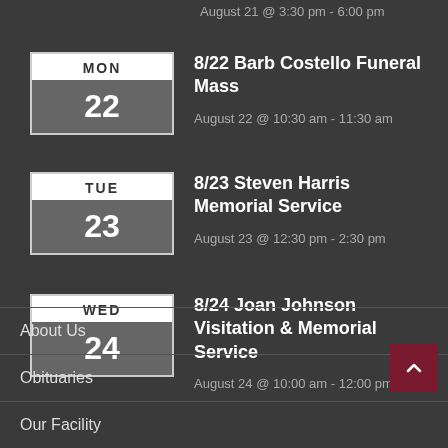August 21 @ 3:30 pm - 6:00 pm
8/22 Barb Costello Funeral Mass
August 22 @ 10:30 am - 11:30 am
8/23 Steven Harris Memorial Service
August 23 @ 12:30 pm - 2:30 pm
8/24 Joan Johnson Visitation & Memorial Service
August 24 @ 10:00 am - 12:00 pm
About Us
Obituaries
Our Facility